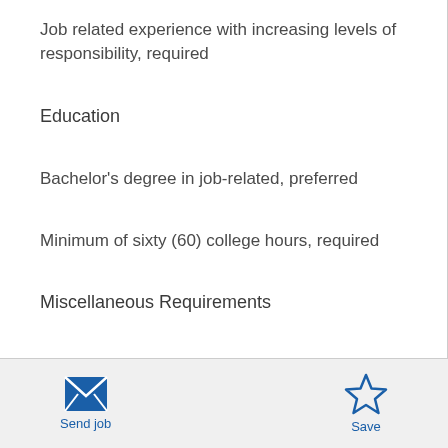Job related experience with increasing levels of responsibility, required
Education
Bachelor's degree in job-related, preferred
Minimum of sixty (60) college hours, required
Miscellaneous Requirements
Background clearance, the results of which must be
[Figure (infographic): Send job button with envelope icon on the left, Save button with star icon on the right, in a light grey footer bar]
Send job   Save